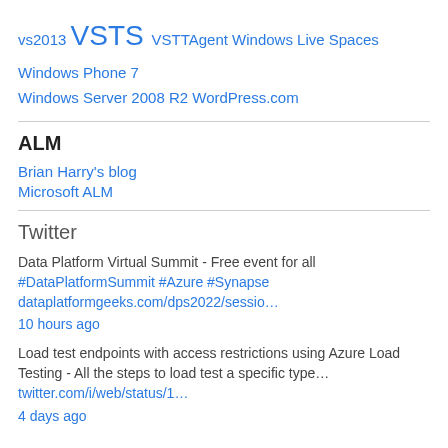vs2013 VSTS VSTTAgent Windows Live Spaces Windows Phone 7 Windows Server 2008 R2 WordPress.com
ALM
Brian Harry's blog
Microsoft ALM
Twitter
Data Platform Virtual Summit - Free event for all #DataPlatformSummit #Azure #Synapse dataplatformgeeks.com/dps2022/sessio…
10 hours ago
Load test endpoints with access restrictions using Azure Load Testing - All the steps to load test a specific type… twitter.com/i/web/status/1…
4 days ago